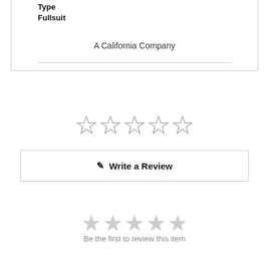Type
Fullsuit
A California Company
[Figure (other): Five empty star rating icons (outline only, gray)]
Write a Review
[Figure (other): Five empty star rating icons (filled gray, lighter)]
Be the first to review this item